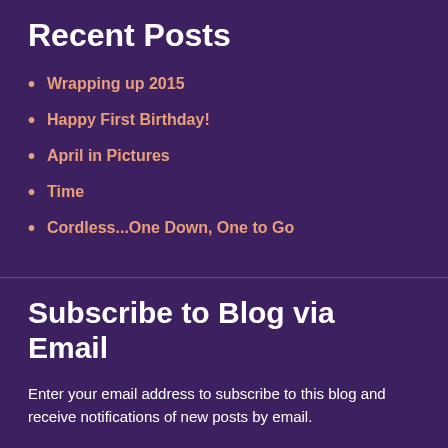Recent Posts
Wrapping up 2015
Happy First Birthday!
April in Pictures
Time
Cordless...One Down, One to Go
Subscribe to Blog via Email
Enter your email address to subscribe to this blog and receive notifications of new posts by email.